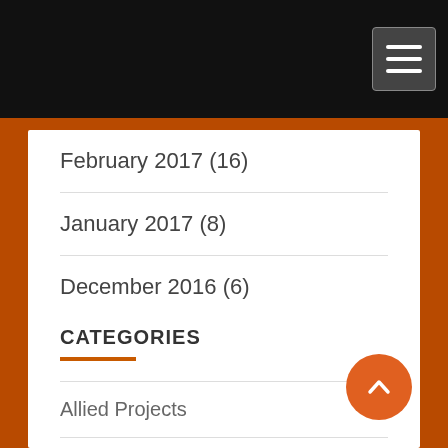[Figure (logo): Transhumanist Party logo with text 'TRANSHUMANIST PARTY' and tagline 'Putting Science, Health, & Technology at the Forefront of American Politics']
February 2017 (16)
January 2017 (8)
December 2016 (6)
November 2016 (5)
CATEGORIES
Allied Projects
Announcements